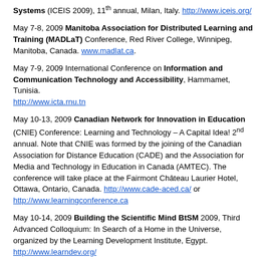Systems (ICEIS 2009), 11th annual, Milan, Italy. http://www.iceis.org/
May 7-8, 2009 Manitoba Association for Distributed Learning and Training (MADLaT) Conference, Red River College, Winnipeg, Manitoba, Canada. www.madlat.ca.
May 7-9, 2009 International Conference on Information and Communication Technology and Accessibility, Hammamet, Tunisia. http://www.icta.rnu.tn
May 10-13, 2009 Canadian Network for Innovation in Education (CNIE) Conference: Learning and Technology – A Capital Idea! 2nd annual. Note that CNIE was formed by the joining of the Canadian Association for Distance Education (CADE) and the Association for Media and Technology in Education in Canada (AMTEC). The conference will take place at the Fairmont Château Laurier Hotel, Ottawa, Ontario, Canada. http://www.cade-aced.ca/ or http://www.learningconference.ca
May 10-14, 2009 Building the Scientific Mind BtSM 2009, Third Advanced Colloquium: In Search of a Home in the Universe, organized by the Learning Development Institute, Egypt. http://www.learndev.org/